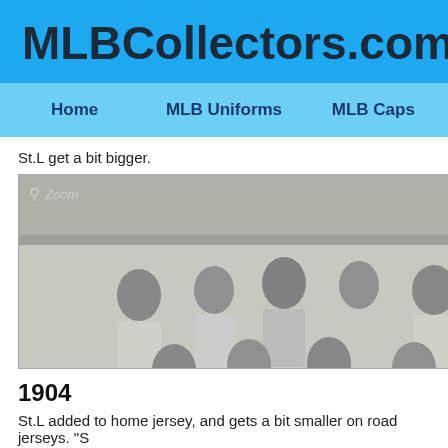MLBCollectors.com
Home | MLB Uniforms | MLB Caps
St.L get a bit bigger.
[Figure (photo): Black and white team photo of St. Louis baseball players in uniforms with 'St. L' lettering, posed in rows]
1904
St.L added to home jersey, and gets a bit smaller on road jerseys. "S
[Figure (photo): Black and white photo thumbnail with zoom icon visible at top left]